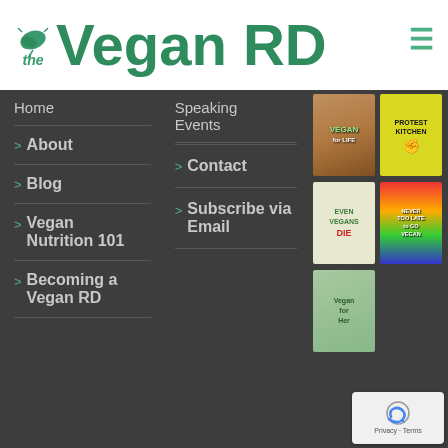[Figure (logo): The Vegan RD logo with green leaf icon and green bold text]
Home
About
Blog
Vegan Nutrition 101
Becoming a Vegan RD
Speaking Events
Contact
Subscribe via Email
[Figure (photo): Book cover: Vegan for Life]
[Figure (photo): Book cover: Protest Kitchen]
[Figure (photo): Book cover: Even Vegans Die]
[Figure (photo): Book cover: Never Too Late to Go Vegan]
[Figure (photo): Book cover: Vegan for Her]